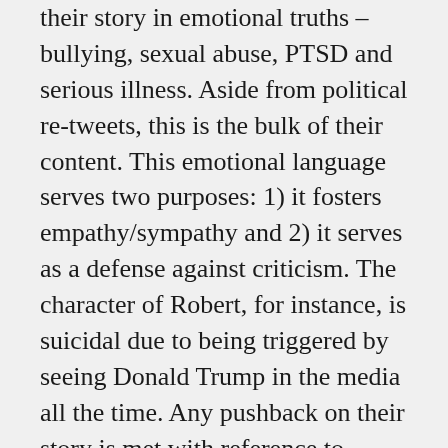their story in emotional truths – bullying, sexual abuse, PTSD and serious illness. Aside from political re-tweets, this is the bulk of their content. This emotional language serves two purposes: 1) it fosters empathy/sympathy and 2) it serves as a defense against criticism. The character of Robert, for instance, is suicidal due to being triggered by seeing Donald Trump in the media all the time. Any pushback on their story is met with reference to another suicide attempt. This is particularly interesting since 'Robert' already died on November 9, according to social media references. Now that he is alive again, he is quite useful for reflecting and supporting Henzi's claims.